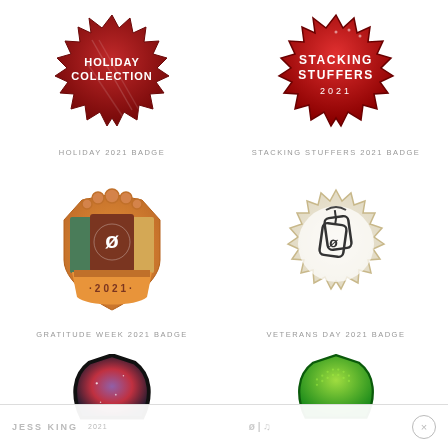[Figure (illustration): Holiday Collection 2021 Badge - dark red starburst badge with HOLIDAY COLLECTION text]
HOLIDAY 2021 BADGE
[Figure (illustration): Stacking Stuffers 2021 Badge - red starburst badge with STACKING STUFFERS 2021 text]
STACKING STUFFERS 2021 BADGE
[Figure (illustration): Gratitude Week 2021 Badge - colorful shield badge with Peloton logo and 2021]
GRATITUDE WEEK 2021 BADGE
[Figure (illustration): Veterans Day 2021 Badge - beige/tan scalloped badge with dog tags and Peloton logo]
VETERANS DAY 2021 BADGE
[Figure (illustration): Partial badge - black bordered scalloped badge with galaxy/space imagery, JESS KING text and 2021]
[Figure (illustration): Partial badge - green scalloped badge with Peloton and Spotify logos]
JESS KING  2021